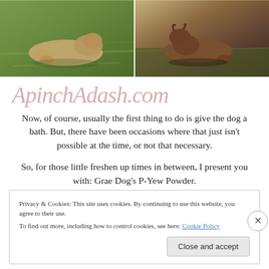[Figure (photo): Two side-by-side photos of a dog rolling in grass, with a green grassy background. Left photo shows lighter tones, right photo shows darker/sepia tones.]
ApinchAdash.com
Now, of course, usually the first thing to do is give the dog a bath. But, there have been occasions where that just isn't possible at the time, or not that necessary.
So, for those little freshen up times in between, I present you with: Grae Dog's P-Yew Powder.
Privacy & Cookies: This site uses cookies. By continuing to use this website, you agree to their use.
To find out more, including how to control cookies, see here: Cookie Policy
Close and accept